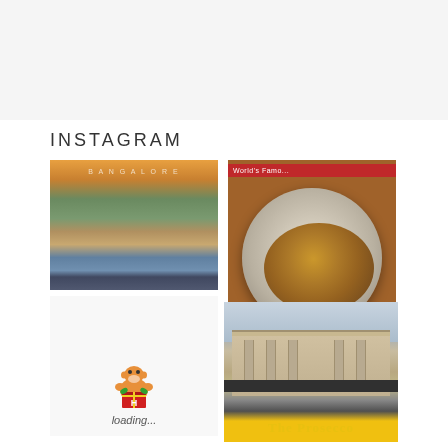INSTAGRAM
[Figure (photo): Composite aerial city skyline photo with text BANGALORE overlay, showing multiple horizontal strips of city views at different times of day]
[Figure (photo): A bowl of food (soup/curry dish with toppings including fried onions and garnish) on a red restaurant table, with a red menu visible in background with partial text]
[Figure (photo): Loading placeholder with monkey/gift box logo illustration and 'loading...' text]
[Figure (photo): Exterior of a building with classical architecture (columns, pediment) with 'The Prosecco' signage in gold letters at the bottom]